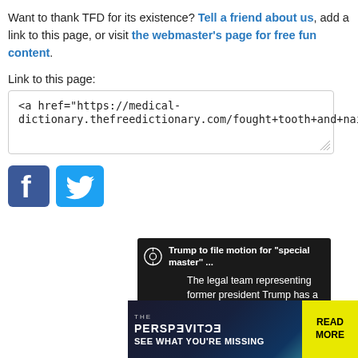Want to thank TFD for its existence? Tell a friend about us, add a link to this page, or visit the webmaster's page for free fun content.
Link to this page:
<a href="https://medical-dictionary.thefreedictionary.com/fought+tooth+and+nail">tooth</a>
[Figure (logo): Facebook and Twitter social media icons]
[Figure (screenshot): News card on dark background: Trump to file motion for 'special master' ... The legal team representing former president Trump has a plan after the FBI sees]
[Figure (infographic): Advertisement banner: THE PERSPECTIVE - SEE WHAT YOU'RE MISSING - READ MORE]